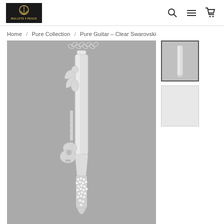[Figure (logo): Bullets 4 Peace logo — dark background, gold peace symbol inside circle, gold text BULLETS 4 PEACE]
[Figure (other): Navigation icons: search (magnifying glass), hamburger menu, shopping cart]
Home / Pure Collection / Pure Guitar – Clear Swarovski
[Figure (photo): Main product photo of a silver bullet pendant necklace with a guitar and angel motif, crystal-encrusted base, shown on a chain against a grey background]
[Figure (photo): Thumbnail 1 (selected): same pendant necklace, zoomed view]
[Figure (photo): Thumbnail 2: alternate view of the pendant, lighter/white background]